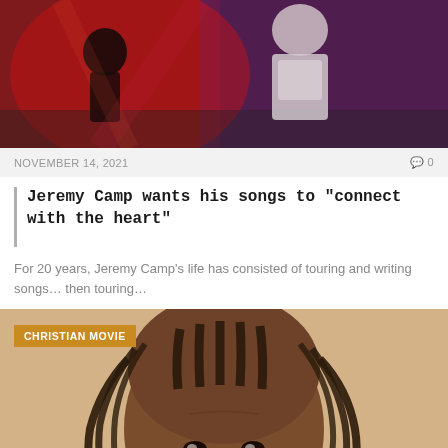[Figure (photo): Concert photo showing two performers on stage with red and purple lighting backdrop]
NOVEMBER 14, 2021   0
Jeremy Camp wants his songs to "connect with the heart"
For 20 years, Jeremy Camp's life has consisted of touring and writing songs... then touring...
[Figure (photo): Close-up portrait of a person with dreadlocks against a beige background, with 'CHRISTIAN MOVIE' category badge overlay]